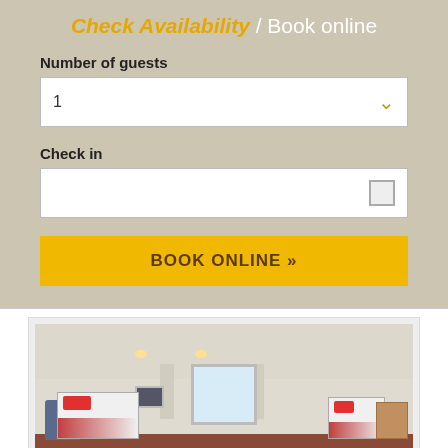Check Availability / Book online
Number of guests
1
Check in
BOOK ONLINE »
[Figure (photo): Interior photo of a hotel room showing two beds with red pillows, a red carpet, window with curtains, wall art, and a wooden desk with chair.]